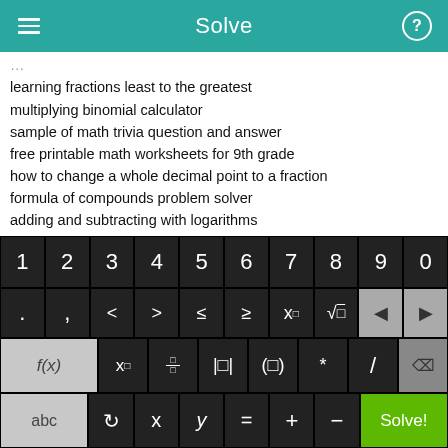Solve
learning fractions least to the greatest
multiplying binomial calculator
sample of math trivia question and answer
free printable math worksheets for 9th grade
how to change a whole decimal point to a fraction
formula of compounds problem solver
adding and subtracting with logarithms
lcm calculator fraction
converting bases in ti 89
free past exams for sat ks?
[Figure (screenshot): Math keyboard with number row 1-9,0; second row with symbols . , < > ≤ ≥ x^□ √□ and back arrows; third row with f(x) x_□ fraction absolute-value parentheses * / and delete; bottom row with abc ↺ x y = + − and Solve! button]